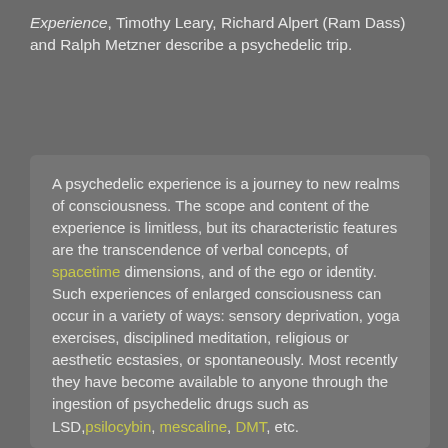Experience, Timothy Leary, Richard Alpert (Ram Dass) and Ralph Metzner describe a psychedelic trip.
A psychedelic experience is a journey to new realms of consciousness. The scope and content of the experience is limitless, but its characteristic features are the transcendence of verbal concepts, of spacetime dimensions, and of the ego or identity. Such experiences of enlarged consciousness can occur in a variety of ways: sensory deprivation, yoga exercises, disciplined meditation, religious or aesthetic ecstasies, or spontaneously. Most recently they have become available to anyone through the ingestion of psychedelic drugs such as LSD, psilocybin, mescaline, DMT, etc.